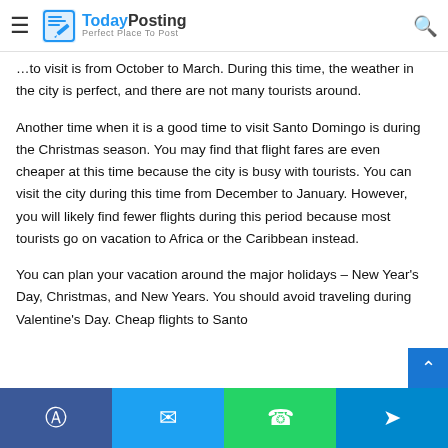Today Posting – Perfect Place To Post
…to visit is from October to March. During this time, the weather in the city is perfect, and there are not many tourists around.
Another time when it is a good time to visit Santo Domingo is during the Christmas season. You may find that flight fares are even cheaper at this time because the city is busy with tourists. You can visit the city during this time from December to January. However, you will likely find fewer flights during this period because most tourists go on vacation to Africa or the Caribbean instead.
You can plan your vacation around the major holidays – New Year's Day, Christmas, and New Years. You should avoid traveling during Valentine's Day. Cheap flights to Santo…
Facebook | Twitter | WhatsApp | Telegram